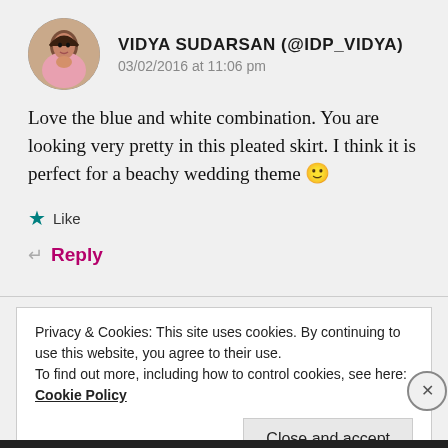[Figure (photo): Circular avatar photo of Vidya Sudarsan, a woman in a pink top]
VIDYA SUDARSAN (@IDP_VIDYA)
03/02/2016 at 11:06 pm
Love the blue and white combination. You are looking very pretty in this pleated skirt. I think it is perfect for a beachy wedding theme 🙂
★ Like
↵ Reply
Privacy & Cookies: This site uses cookies. By continuing to use this website, you agree to their use.
To find out more, including how to control cookies, see here:
Cookie Policy
Close and accept